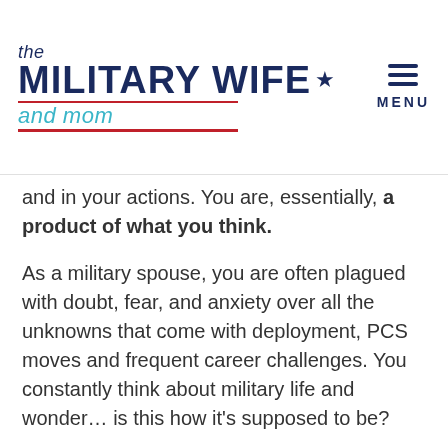the MILITARY WIFE and mom | MENU
and in your actions. You are, essentially, a product of what you think.
As a military spouse, you are often plagued with doubt, fear, and anxiety over all the unknowns that come with deployment, PCS moves and frequent career challenges. You constantly think about military life and wonder… is this how it's supposed to be?
In the same way negative thoughts can